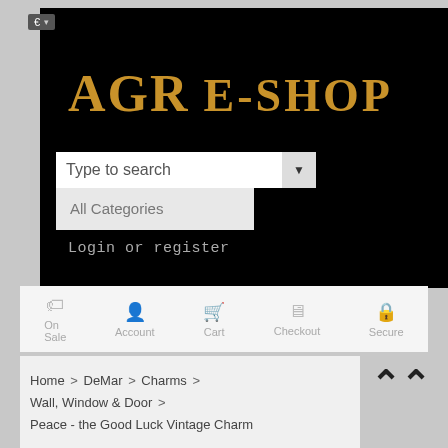[Figure (screenshot): AGR E-SHOP website header with black background, logo in gold text, search bar with Type to search placeholder, All Categories dropdown, and Login or register link]
€ ▾
AGR  E-SHOP
Type to search
All Categories
Login or register
On Sale
Account
Cart
Checkout
Secure
Home > DeMar > Charms > Wall, Window & Door > Peace - the Good Luck Vintage Charm